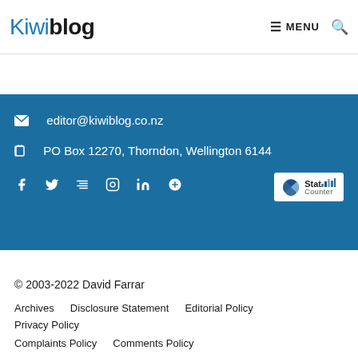Kiwiblog | MENU
editor@kiwiblog.co.nz
PO Box 12270, Thorndon, Wellington 6144
[Figure (logo): StatCounter logo badge]
© 2003-2022 David Farrar
Archives   Disclosure Statement   Editorial Policy   Privacy Policy
Complaints Policy   Comments Policy